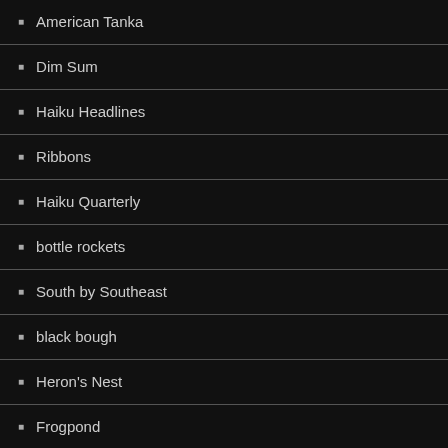American Tanka
Dim Sum
Haiku Headlines
Ribbons
Haiku Quarterly
bottle rockets
South by Southeast
black bough
Heron's Nest
Frogpond
Akitsu Quarterly
Modern Haiku
Mayfly
Haiku Canada